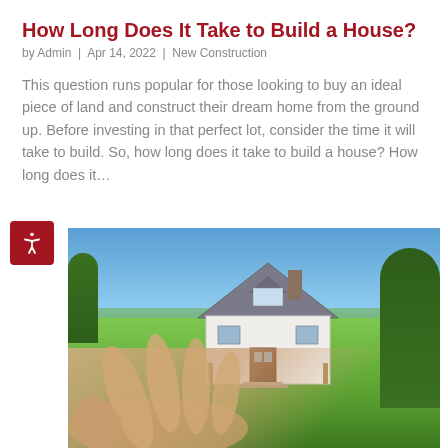How Long Does It Take to Build a House?
by Admin | Apr 14, 2022 | New Construction
This question runs popular for those looking to buy an ideal piece of land and construct their dream home from the ground up. Before investing in that perfect lot, consider the time it will take to build. So, how long does it take to build a house? How long does it…
[Figure (photo): A hand holding a miniature house model against a background of green grass, trees, and blue sky — representing home construction concept.]